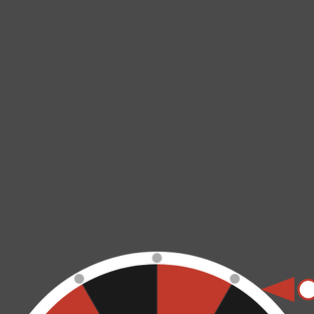[Figure (infographic): A prize spin wheel (fortune wheel) with alternating red and dark/black segments. The wheel shows prize labels: $30 OFF, Almost, $20 OFF, No luck today, 15% OFF, Next time, FREE SHIPPING, Nope, $40 OFF, Sorry!, 20% OFF, Nothing. The wheel has a white rim with small grey peg markers, a white inner ring, and a center hub with a logo (M). A red pointer/arrow is positioned on the right side pointing left toward the 'No luck today' segment. The background is dark grey (#4a4a4a). The bottom of the wheel is partially cut off.]